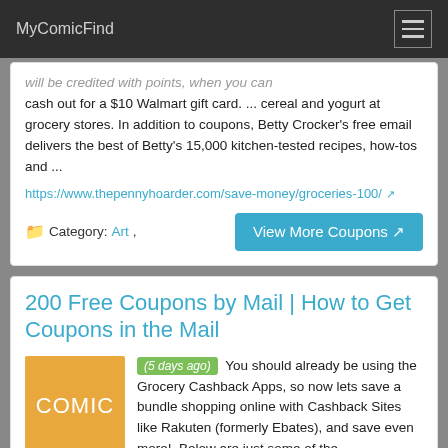MyComicFind
will be credited with points, when you can cash out for a $10 Walmart gift card. ... cereal and yogurt at grocery stores. In addition to coupons, Betty Crocker's free email delivers the best of Betty's 15,000 kitchen-tested recipes, how-tos and ...
https://www.thepennyhoarder.com/save-money/groceries-100/
Category: Art,
View More Coupons
200 Free Coupons by Mail | How to Get Coupons in the Mail
[Figure (illustration): Orange square thumbnail with white text reading COMIC]
(5 days ago) You should already be using the Grocery Cashback Apps, so now lets save a bundle shopping online with Cashback Sites like Rakuten (formerly Ebates), and save even more!. Below are just some of the